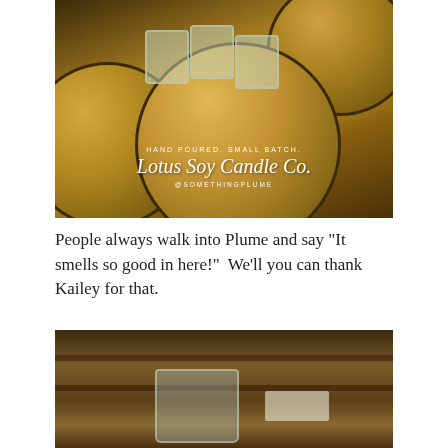[Figure (photo): Photo of large golden/brass pots and glass jars used for candle making, with overlay text reading 'HAND POURED. SMALL BATCH. Lotus Soy Candle Co. @SOMETHINGPLUME']
People always walk into Plume and say "It smells so good in here!"  We'll you can thank Kailey for that.
[Figure (photo): Partial photo showing candle jars and wooden shelving, bottom portion cut off]